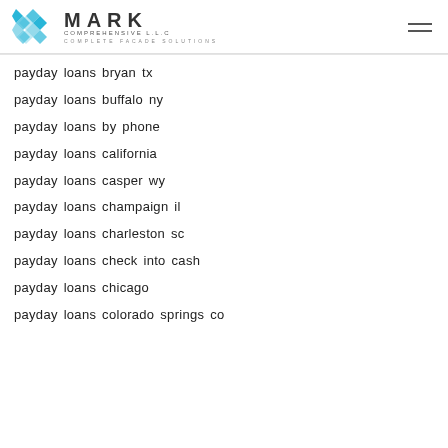MARK COMPREHENSIVE L.L.C COMPLETE FACADE SOLUTIONS
payday loans bryan tx
payday loans buffalo ny
payday loans by phone
payday loans california
payday loans casper wy
payday loans champaign il
payday loans charleston sc
payday loans check into cash
payday loans chicago
payday loans colorado springs co